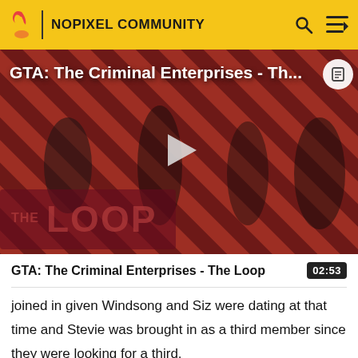NOPIXEL COMMUNITY
[Figure (screenshot): Video thumbnail for GTA: The Criminal Enterprises - The Loop, showing game characters against a red diagonal stripe background with THE LOOP logo. Play button overlay in center.]
GTA: The Criminal Enterprises - The Loop
02:53
joined in given Windsong and Siz were dating at that time and Stevie was brought in as a third member since they were looking for a third.